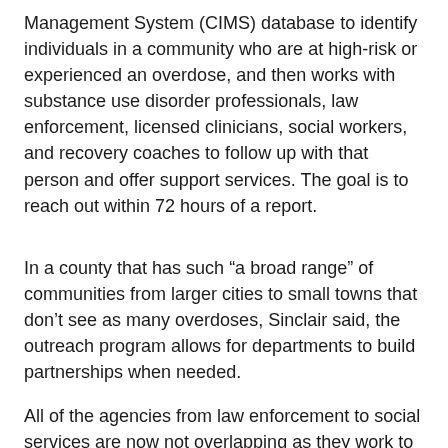Management System (CIMS) database to identify individuals in a community who are at high-risk or experienced an overdose, and then works with substance use disorder professionals, law enforcement, licensed clinicians, social workers, and recovery coaches to follow up with that person and offer support services. The goal is to reach out within 72 hours of a report.
In a county that has such “a broad range” of communities from larger cities to small towns that don’t see as many overdoses, Sinclair said, the outreach program allows for departments to build partnerships when needed.
All of the agencies from law enforcement to social services are now not overlapping as they work to get someone help.
“The whole purpose is to have all the communities on one page together,” Sinclair said.